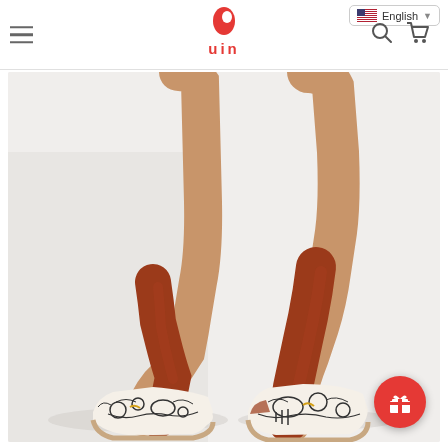uin — English language selector, hamburger menu, search and cart icons
[Figure (photo): Product photo of a person's legs wearing rust/burnt-orange knee-high socks and white slip-on shoes with black-and-white cartoon/comic art printed on them, against a white background. A red circular gift button appears in the lower right.]